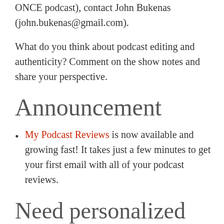ONCE podcast), contact John Bukenas (john.bukenas@gmail.com).
What do you think about podcast editing and authenticity? Comment on the show notes and share your perspective.
Announcement
My Podcast Reviews is now available and growing fast! It takes just a few minutes to get your first email with all of your podcast reviews.
Need personalized